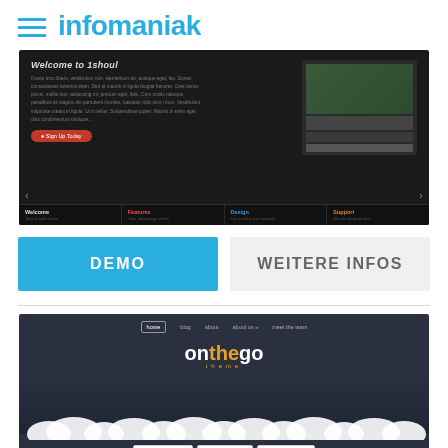infomaniak
[Figure (screenshot): Dark-themed website screenshot showing 'Welcome to 1Shout' with text content, a red Sign Up Today button, and dark navigation tabs below showing Welcome, Features, Design, Support sections]
DEMO
WEITERE INFOS
[Figure (screenshot): Dark blue-themed website screenshot showing 'onthego theme' branding with navigation menu (home, blog, about, about us, meet the team), city skyline illustration, white cloud decorations, and three bottom buttons: ABOUT ONTHEGO, MEET THE TEAM, WELCOME HOME]